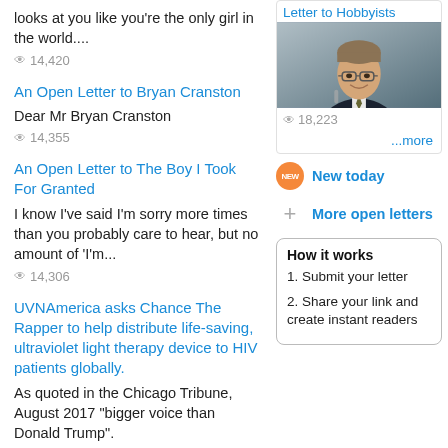looks at you like you're the only girl in the world....
60  14,420
An Open Letter to Bryan Cranston
Dear Mr Bryan Cranston
60  14,355
An Open Letter to The Boy I Took For Granted
I know I've said I'm sorry more times than you probably care to hear, but no amount of 'I'm...
60  14,306
UVNAmerica asks Chance The Rapper to help distribute life-saving, ultraviolet light therapy device to HIV patients globally.
As quoted in the Chicago Tribune, August 2017 "bigger voice than Donald Trump".
Letter to Hobbyists
[Figure (photo): Photo of Bill Gates smiling, wearing a suit and tie, in front of a microphone]
60  18,223
...more
New today
More open letters
How it works
1. Submit your letter
2. Share your link and create instant readers